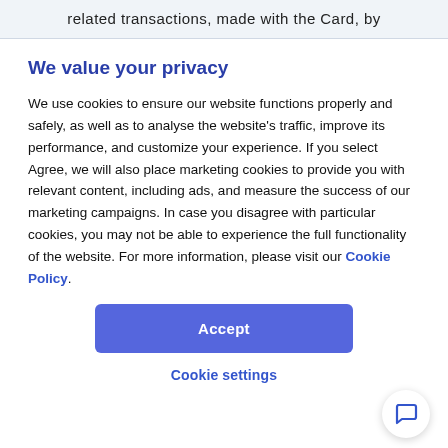related transactions, made with the Card, by
We value your privacy
We use cookies to ensure our website functions properly and safely, as well as to analyse the website’s traffic, improve its performance, and customize your experience. If you select Agree, we will also place marketing cookies to provide you with relevant content, including ads, and measure the success of our marketing campaigns. In case you disagree with particular cookies, you may not be able to experience the full functionality of the website. For more information, please visit our Cookie Policy.
Accept
Cookie settings